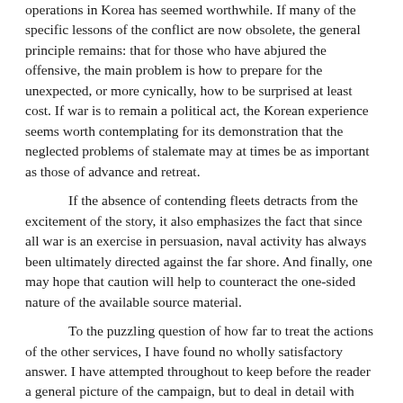operations in Korea has seemed worthwhile. If many of the specific lessons of the conflict are now obsolete, the general principle remains: that for those who have abjured the offensive, the main problem is how to prepare for the unexpected, or more cynically, how to be surprised at least cost. If war is to remain a political act, the Korean experience seems worth contemplating for its demonstration that the neglected problems of stalemate may at times be as important as those of advance and retreat.
If the absence of contending fleets detracts from the excitement of the story, it also emphasizes the fact that since all war is an exercise in persuasion, naval activity has always been ultimately directed against the far shore. And finally, one may hope that caution will help to counteract the one-sided nature of the available source material.
To the puzzling question of how far to treat the actions of the other services, I have found no wholly satisfactory answer. I have attempted throughout to keep before the reader a general picture of the campaign, but to deal in detail with Army and Air Force operations only when they interacted with those of the Navy. But while this standard has seemed the only one possible, it should be made plain that it distorts the picture. For the Army it means that emphasis is on the hard times when help was